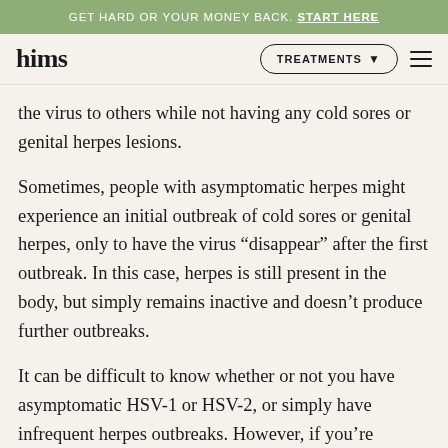GET HARD OR YOUR MONEY BACK. START HERE
[Figure (logo): hims logo with navigation bar including TREATMENTS dropdown and hamburger menu]
the virus to others while not having any cold sores or genital herpes lesions.
Sometimes, people with asymptomatic herpes might experience an initial outbreak of cold sores or genital herpes, only to have the virus “disappear” after the first outbreak. In this case, herpes is still present in the body, but simply remains inactive and doesn’t produce further outbreaks.
It can be difficult to know whether or not you have asymptomatic HSV-1 or HSV-2, or simply have infrequent herpes outbreaks. However, if you’re